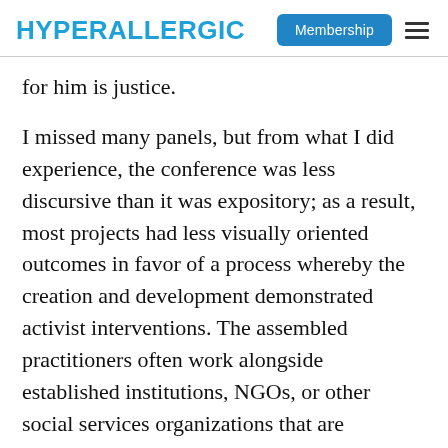HYPERALLERGIC | Membership
for him is justice.
I missed many panels, but from what I did experience, the conference was less discursive than it was expository; as a result, most projects had less visually oriented outcomes in favor of a process whereby the creation and development demonstrated activist interventions. The assembled practitioners often work alongside established institutions, NGOs, or other social services organizations that are overlooked in the art world for being either too politically transparent or not artistic enough. And yet,